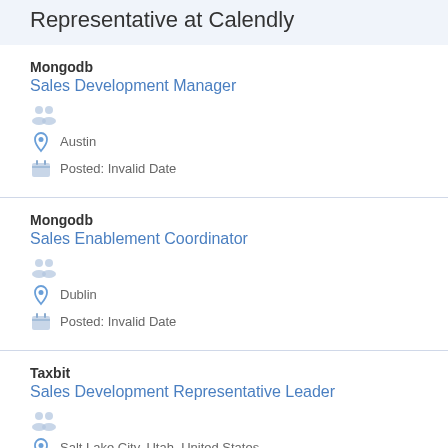Representative at Calendly
Mongodb
Sales Development Manager
Austin
Posted: Invalid Date
Mongodb
Sales Enablement Coordinator
Dublin
Posted: Invalid Date
Taxbit
Sales Development Representative Leader
Salt Lake City, Utah, United States